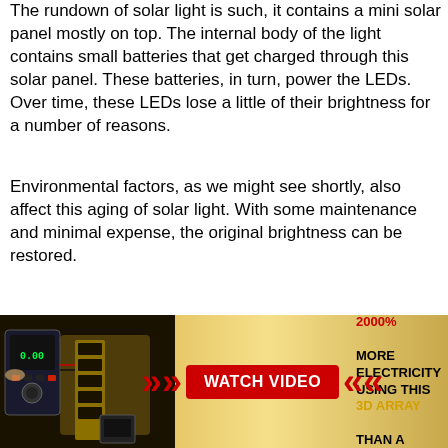The rundown of solar light is such, it contains a mini solar panel mostly on top. The internal body of the light contains small batteries that get charged through this solar panel. These batteries, in turn, power the LEDs. Over time, these LEDs lose a little of their brightness for a number of reasons.
Environmental factors, as we might see shortly, also affect this aging of solar light. With some maintenance and minimal expense, the original brightness can be restored.
Some solutions we proposed that makes your solar lights brighter are:
[Figure (infographic): Advertisement banner showing electrical equipment on the left, red chevrons and a red WATCH VIDEO button in the middle, and text on the right reading GENERATE UP TO 2000% MORE ELECTRICITY USING THIS 3D ARRAY THAN A FIXED ARRAY on a golden/yellow background.]